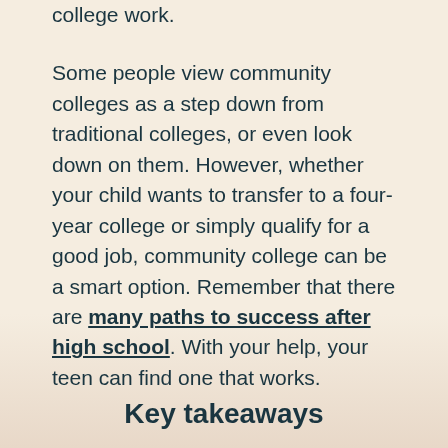college work.

Some people view community colleges as a step down from traditional colleges, or even look down on them. However, whether your child wants to transfer to a four-year college or simply qualify for a good job, community college can be a smart option. Remember that there are many paths to success after high school. With your help, your teen can find one that works.
Key takeaways